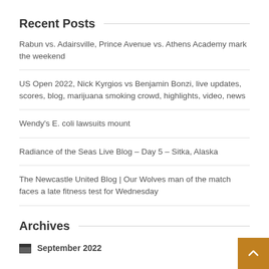Recent Posts
Rabun vs. Adairsville, Prince Avenue vs. Athens Academy mark the weekend
US Open 2022, Nick Kyrgios vs Benjamin Bonzi, live updates, scores, blog, marijuana smoking crowd, highlights, video, news
Wendy's E. coli lawsuits mount
Radiance of the Seas Live Blog – Day 5 – Sitka, Alaska
The Newcastle United Blog | Our Wolves man of the match faces a late fitness test for Wednesday
Archives
September 2022